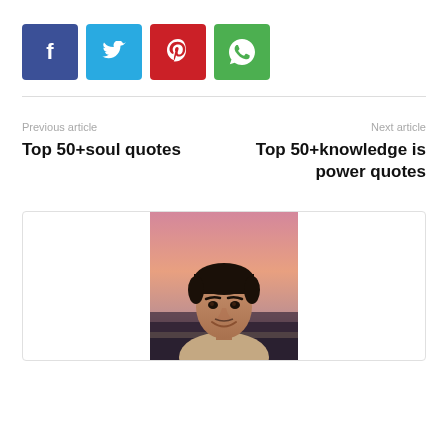[Figure (other): Social share buttons: Facebook (blue), Twitter (light blue), Pinterest (red), WhatsApp (green)]
Previous article
Top 50+soul quotes
Next article
Top 50+knowledge is power quotes
[Figure (photo): Author profile photo: a young man smiling, photographed at dusk outdoors]